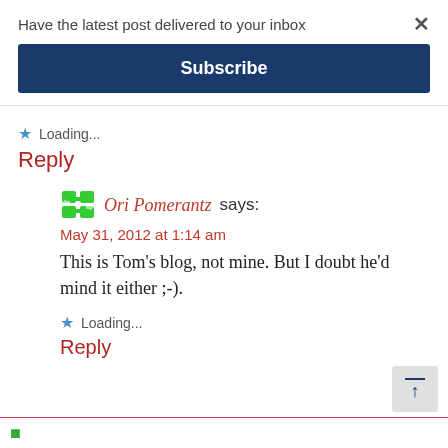Have the latest post delivered to your inbox
×
Subscribe
Loading...
Reply
Ori Pomerantz says:
May 31, 2012 at 1:14 am
This is Tom's blog, not mine. But I doubt he'd mind it either ;-).
Loading...
Reply